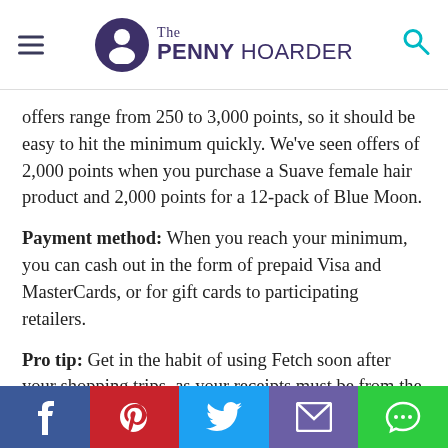The PENNY HOARDER
offers range from 250 to 3,000 points, so it should be easy to hit the minimum quickly. We've seen offers of 2,000 points when you purchase a Suave female hair product and 2,000 points for a 12-pack of Blue Moon.
Payment method: When you reach your minimum, you can cash out in the form of prepaid Visa and MasterCards, or for gift cards to participating retailers.
Pro tip: Get in the habit of using Fetch soon after your shopping trips, as your receipts must be from the past 14 days. Plus, when you download the app, use the code PENNY to automatically earn 2,000 points when you scan your first receipt — you'll be well on your way to your first gift